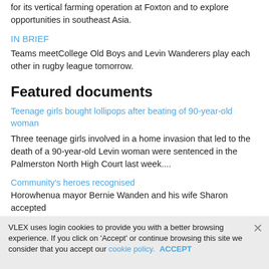for its vertical farming operation at Foxton and to explore opportunities in southeast Asia.
IN BRIEF
Teams meetCollege Old Boys and Levin Wanderers play each other in rugby league tomorrow.
Featured documents
Teenage girls bought lollipops after beating of 90-year-old woman
Three teenage girls involved in a home invasion that led to the death of a 90-year-old Levin woman were sentenced in the Palmerston North High Court last week....
Community's heroes recognised
Horowhenua mayor Bernie Wanden and his wife Sharon accepted
VLEX uses login cookies to provide you with a better browsing experience. If you click on 'Accept' or continue browsing this site we consider that you accept our cookie policy. ACCEPT